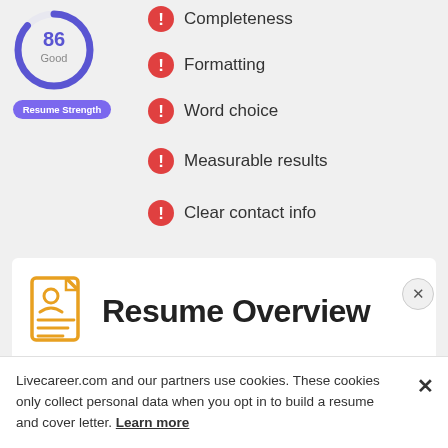[Figure (infographic): Circle gauge showing score 86 with label 'Good' inside, surrounded by a thick blue-purple ring. Below is a purple pill badge labeled 'Resume Strength'.]
Completeness
Formatting
Word choice
Measurable results
Clear contact info
[Figure (illustration): Orange resume document icon with a person silhouette and lines of text.]
Resume Overview
School Attended
Livecareer.com and our partners use cookies. These cookies only collect personal data when you opt in to build a resume and cover letter. Learn more